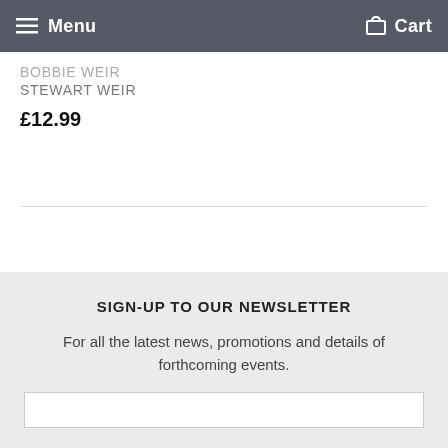Menu  Cart
BOBBIE WEIR
STEWART WEIR
£12.99
SIGN-UP TO OUR NEWSLETTER
For all the latest news, promotions and details of forthcoming events.